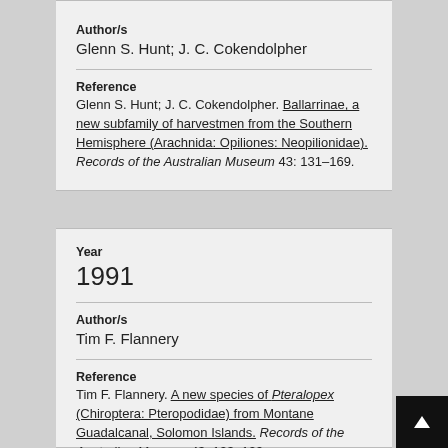Author/s
Glenn S. Hunt; J. C. Cokendolpher
Reference
Glenn S. Hunt; J. C. Cokendolpher. Ballarrinae, a new subfamily of harvestmen from the Southern Hemisphere (Arachnida: Opiliones: Neopilionidae). Records of the Australian Museum 43: 131–169.
Year
1991
Author/s
Tim F. Flannery
Reference
Tim F. Flannery. A new species of Pteralopex (Chiroptera: Pteropodidae) from Montane Guadalcanal, Solomon Islands. Records of the Australian Museum 43: 123–129.